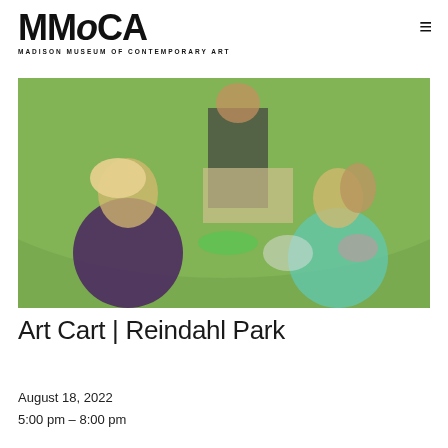MMoCA — MADISON MUSEUM OF CONTEMPORARY ART
[Figure (photo): Two young girls sitting on grass doing an art activity outdoors, with an adult holding a clipboard/board visible in the background. Art supplies scattered around on the grass. Setting appears to be a park.]
Art Cart | Reindahl Park
August 18, 2022
5:00 pm – 8:00 pm